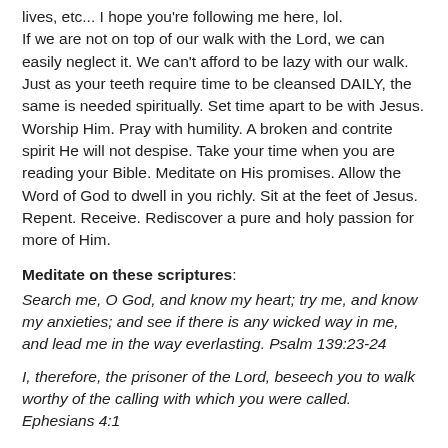lives, etc... I hope you're following me here, lol. If we are not on top of our walk with the Lord, we can easily neglect it. We can't afford to be lazy with our walk. Just as your teeth require time to be cleansed DAILY, the same is needed spiritually. Set time apart to be with Jesus. Worship Him. Pray with humility. A broken and contrite spirit He will not despise. Take your time when you are reading your Bible. Meditate on His promises. Allow the Word of God to dwell in you richly. Sit at the feet of Jesus. Repent. Receive. Rediscover a pure and holy passion for more of Him.
Meditate on these scriptures:
Search me, O God, and know my heart; try me, and know my anxieties; and see if there is any wicked way in me, and lead me in the way everlasting. Psalm 139:23-24
I, therefore, the prisoner of the Lord, beseech you to walk worthy of the calling with which you were called. Ephesians 4:1
Therefore, having these promises, beloved, let us cleanse ourselves from all filthiness of the flesh and spirit, perfecting holiness in the fear of God. 2 Corinthians 7:1